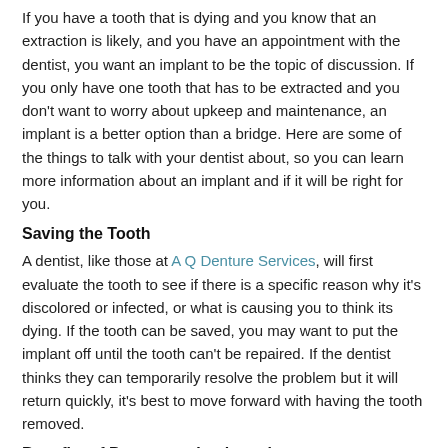If you have a tooth that is dying and you know that an extraction is likely, and you have an appointment with the dentist, you want an implant to be the topic of discussion. If you only have one tooth that has to be extracted and you don't want to worry about upkeep and maintenance, an implant is a better option than a bridge. Here are some of the things to talk with your dentist about, so you can learn more information about an implant and if it will be right for you.
Saving the Tooth
A dentist, like those at A Q Denture Services, will first evaluate the tooth to see if there is a specific reason why it's discolored or infected, or what is causing you to think its dying. If the tooth can be saved, you may want to put the implant off until the tooth can't be repaired. If the dentist thinks they can temporarily resolve the problem but it will return quickly, it's best to move forward with having the tooth removed.
Benefits of Permanent Implantation
There are a lot of benefits associated with permanent implantation. Some of the benefits you will enjoy include:
A permanent replacement